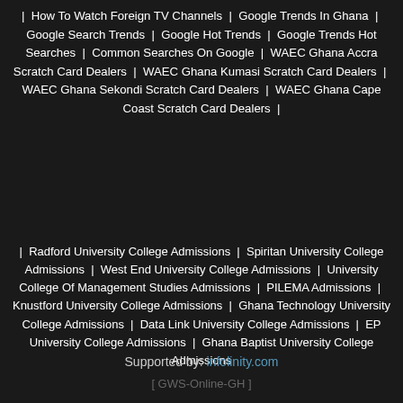| How To Watch Foreign TV Channels | Google Trends In Ghana | Google Search Trends | Google Hot Trends | Google Trends Hot Searches | Common Searches On Google | WAEC Ghana Accra Scratch Card Dealers | WAEC Ghana Kumasi Scratch Card Dealers | WAEC Ghana Sekondi Scratch Card Dealers | WAEC Ghana Cape Coast Scratch Card Dealers |
| Radford University College Admissions | Spiritan University College Admissions | West End University College Admissions | University College Of Management Studies Admissions | PILEMA Admissions | Knustford University College Admissions | Ghana Technology University College Admissions | Data Link University College Admissions | EP University College Admissions | Ghana Baptist University College Admissions | Accra Institute Of Technology Admissions | Wisconsin International... | African University College Of Communications Admissions | Pentecost University College Ghana Admissions |
We use cookies to personalize content and analyse traffic. Usage of this website implies your consent.
OK, I agree
Learn more
Supported by: infolinity.com
[ GWS-Online-GH ]